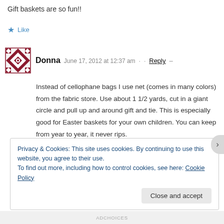Gift baskets are so fun!!
★ Like
Donna  June 17, 2012 at 12:37 am  ·  ·  Reply  –
Instead of cellophane bags I use net (comes in many colors) from the fabric store. Use about 1 1/2 yards, cut in a giant circle and pull up and around gift and tie. This is especially good for Easter baskets for your own children. You can keep from year to year, it never rips.
Privacy & Cookies: This site uses cookies. By continuing to use this website, you agree to their use.
To find out more, including how to control cookies, see here: Cookie Policy
Close and accept
ADCHOICES